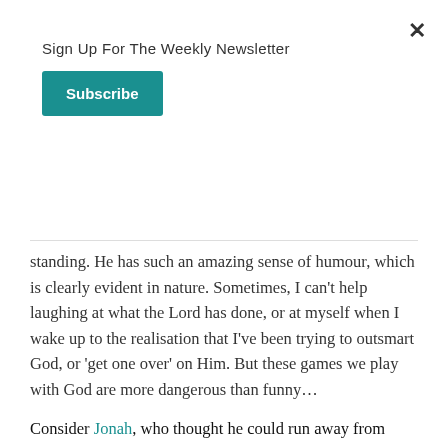Sign Up For The Weekly Newsletter
[Figure (other): Subscribe button — teal/green rectangular button with white bold text 'Subscribe']
standing.  He has such an amazing sense of humour, which is clearly evident in nature.  Sometimes, I can't help laughing at what the Lord has done, or at myself when I wake up to the realisation that I've been trying to outsmart God, or 'get one over' on Him.  But these games we play with God are more dangerous than funny…
Consider Jonah, who thought he could run away from God.  That almost cost him his life!  He probably thought he knew better than God; that the people of Nineveh were beyond redemption, so why bother preaching to them?  I also think that at the back of his mind, He knew God wanted to forgive them, but that